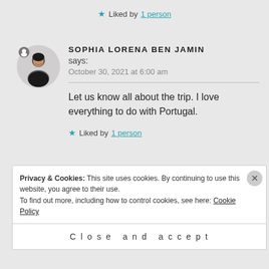★ Liked by 1 person
SOPHIA LORENA BENJAMIN says:
October 30, 2021 at 6:00 am
Let us know all about the trip. I love everything to do with Portugal.
★ Liked by 1 person
Privacy & Cookies: This site uses cookies. By continuing to use this website, you agree to their use.
To find out more, including how to control cookies, see here: Cookie Policy
Close and accept